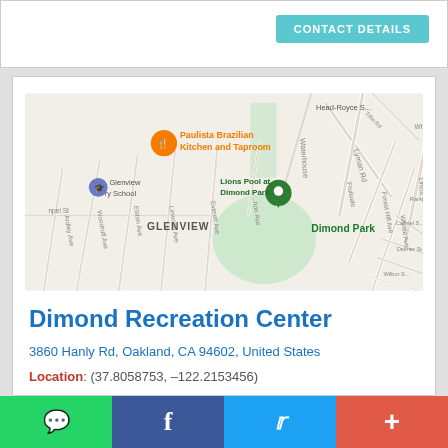CONTACT DETAILS
[Figure (map): Google Maps view of Dimond Park area in Oakland, CA showing Lions Pool at Dimond Park marker, surrounding streets including Lyman Rd, Fruitvale Ave, Forest Hill Ave, and nearby landmarks like Paulista Brazilian Kitchen and Taproom, Glenview Elementary School, Sequoia Elementary School, Head-Royce School.]
Dimond Recreation Center
3860 Hanly Rd, Oakland, CA 94602, United States
Location: (37.8058753, –122.2153456)
Rating: 4.7/5 ★★★★★ (29) Votes